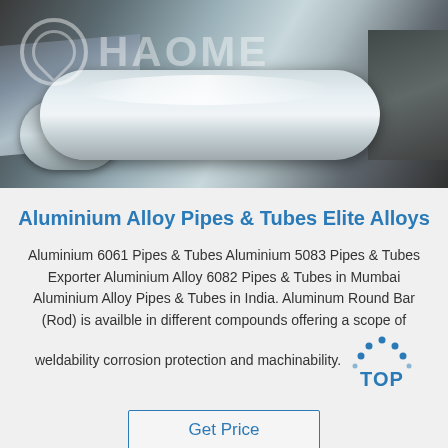[Figure (photo): Industrial aluminium alloy rolls/coils on a machine, with HAOME watermark logo overlaid in white]
Aluminium Alloy Pipes & Tubes Elite Alloys
Aluminium 6061 Pipes & Tubes Aluminium 5083 Pipes & Tubes Exporter Aluminium Alloy 6082 Pipes & Tubes in Mumbai Aluminium Alloy Pipes & Tubes in India. Aluminum Round Bar (Rod) is availble in different compounds offering a scope of weldability corrosion protection and machinability.
[Figure (logo): TOP badge with dots arranged in arc above the word TOP in blue]
Get Price